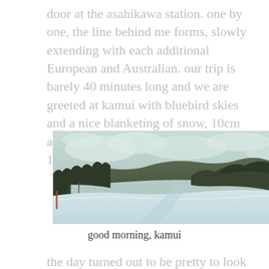door at the asahikawa station.  one by one, the line behind me forms,  slowly extending with each additional European and Australian.  our trip is barely 40 minutes long and we are greeted at kamui with bluebird skies and a nice blanketing of snow,  10cm according to their report but more like 15-20cm.
[Figure (photo): A snowy ski slope at Kamui resort with overcast/clearing skies. Trees line both sides of a wide snow-covered run. The scene has a cool, slightly desaturated tone suggesting early morning.]
good morning, kamui
the day turned out to be pretty to look at than to